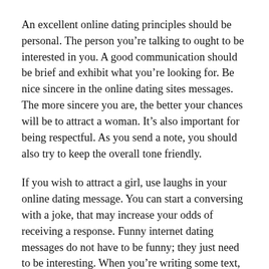An excellent online dating principles should be personal. The person you’re talking to ought to be interested in you. A good communication should be brief and exhibit what you’re looking for. Be nice sincere in the online dating sites messages. The more sincere you are, the better your chances will be to attract a woman. It’s also important for being respectful. As you send a note, you should also try to keep the overall tone friendly.
If you wish to attract a girl, use laughs in your online dating message. You can start a conversing with a joke, that may increase your odds of receiving a response. Funny internet dating messages do not have to be funny; they just need to be interesting. When you’re writing some text, keep it mild, yet still display the right sales message. You’ll be more likely to get a good response if you’re genuine and first.
When you’re writing an online dating message, you should make sure that is actually short and focused on the person you’re speaking to. You don’t desire to audio self-absorbed, or